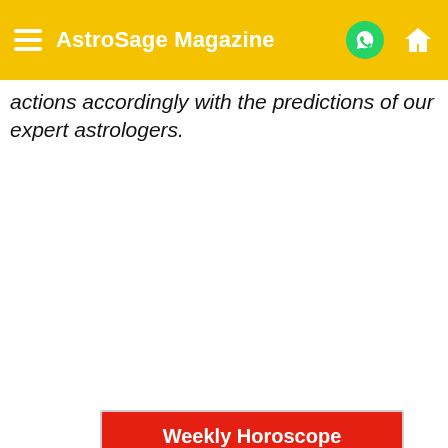AstroSage Magazine
actions accordingly with the predictions of our expert astrologers.
[Figure (infographic): Weekly Horoscope card for June 29 - July 5, 2015 listing predictions for all 12 zodiac signs on a red background]
Weekly Horoscope (June 29 - July 5, 2015)
Aries: You will gain some great financial benefits.
Taurus: Family members will support.
Gemini: You will be able to impress others.
Cancer: You will spend time with dear-ones.
Leo: You will face every situation with ease.
Virgo: Your approach will remain positive.
Libra: You may meet some old friends.
Scorpio: You will feel relaxed.
Sagittarius: A good time to buy property.
Capricorn: Favorable time in every way.
Aquarius: Good news will come from relatives.
Pisces: Your health will improve.